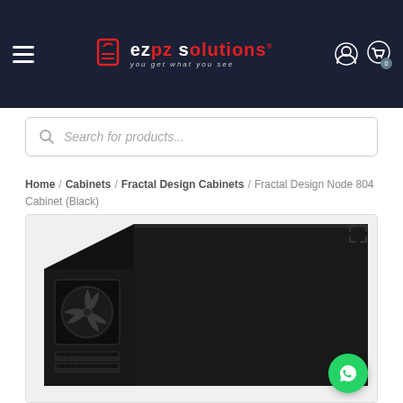ezpz solutions — you get what you see
Search for products...
Home / Cabinets / Fractal Design Cabinets / Fractal Design Node 804 Cabinet (Black)
[Figure (photo): Product photo of Fractal Design Node 804 Cabinet in black, showing front panel with visible fan and drive bays, and the top brushed black panel.]